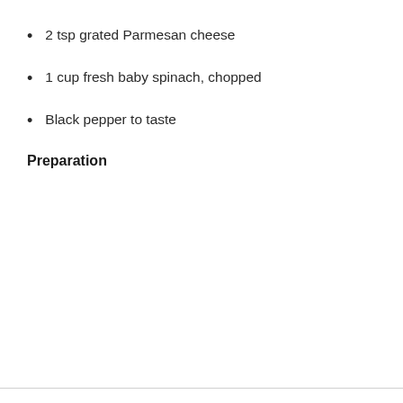2 tsp grated Parmesan cheese
1 cup fresh baby spinach, chopped
Black pepper to taste
Preparation